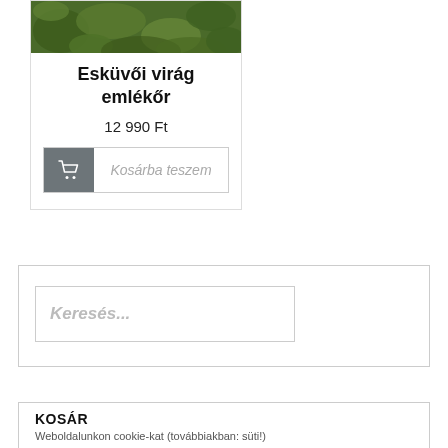[Figure (photo): Green moss/plant foliage photo at top of product card]
Esküvői virág emlékőr
12 990 Ft
Kosárba teszem
Keresés...
KOSÁR
Weboldalunkon cookie-kat (továbbiakban: süti!)